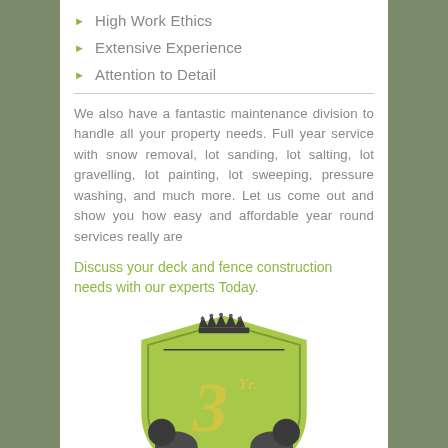High Work Ethics
Extensive Experience
Attention to Detail
We also have a fantastic maintenance division to handle all your property needs. Full year service with snow removal, lot sanding, lot salting, lot gravelling, lot painting, lot sweeping, pressure washing, and much more. Let us come out and show you how easy and affordable year round services really are
Discuss your deck and fence construction needs with our experts Today.
[Figure (logo): 3 Yr. Guarantee badge/shield logo in green and grey with a crown, two lion figures, a banner reading Guarantee, and three stars at the bottom]